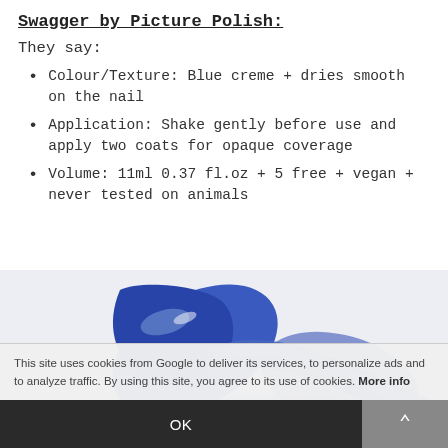Swagger by Picture Polish:
They say:
Colour/Texture: Blue creme + dries smooth on the nail
Application: Shake gently before use and apply two coats for opaque coverage
Volume: 11ml 0.37 fl.oz + 5 free + vegan + never tested on animals
[Figure (photo): Close-up photo of blue nail polish swirls on a white background]
This site uses cookies from Google to deliver its services, to personalize ads and to analyze traffic. By using this site, you agree to its use of cookies. More info
OK